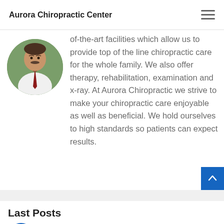Aurora Chiropractic Center
[Figure (photo): Circular portrait photo of a man in a white shirt and red tie, with trees in background]
of-the-art facilities which allow us to provide top of the line chiropractic care for the whole family. We also offer therapy, rehabilitation, examination and x-ray. At Aurora Chiropractic we strive to make your chiropractic care enjoyable as well as beneficial. We hold ourselves to high standards so patients can expect results.
Last Posts
[Figure (illustration): Accessibility icon — blue circle with white human figure with arms outstretched]
Chiropractic Patient Misuse: Wh...